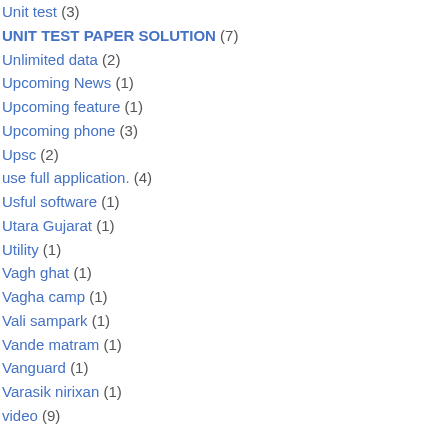Unit test (3)
UNIT TEST PAPER SOLUTION (7)
Unlimited data (2)
Upcoming News (1)
Upcoming feature (1)
Upcoming phone (3)
Upsc (2)
use full application. (4)
Usful software (1)
Utara Gujarat (1)
Utility (1)
Vagh ghat (1)
Vagha camp (1)
Vali sampark (1)
Vande matram (1)
Vanguard (1)
Varasik nirixan (1)
video (9)